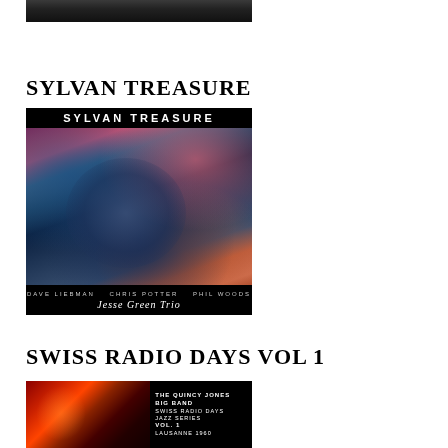[Figure (photo): Top portion of an album cover photo showing a musician, cropped — dark tones]
SYLVAN TREASURE
[Figure (photo): Album cover for Sylvan Treasure by Jesse Green Trio featuring Dave Liebman, Chris Potter, Phil Woods. Dark painting of a reclining figure with colorful background. Black header reads SYLVAN TREASURE, footer shows artist names and Jesse Green Trio.]
SWISS RADIO DAYS VOL 1
[Figure (photo): Album cover for The Quincy Jones Big Band Swiss Radio Days Jazz Series Vol. 1 Lausanne 1960. Left side shows dramatic red/orange imagery, right side shows text label on black background.]